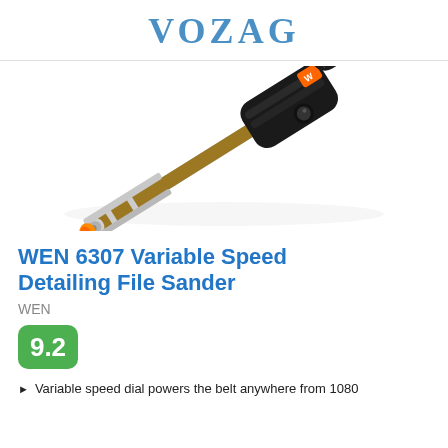VOZAG
[Figure (photo): A WEN 6307 variable speed detailing file sander shown diagonally, black body with orange accent and WEN logo, with a narrow sanding belt extending from the front nose.]
WEN 6307 Variable Speed Detailing File Sander
WEN
9.2
Variable speed dial powers the belt anywhere from 1080